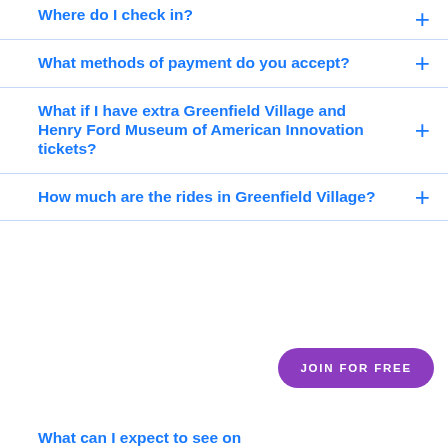Where do I check in?
What methods of payment do you accept?
What if I have extra Greenfield Village and Henry Ford Museum of American Innovation tickets?
How much are the rides in Greenfield Village?
JOIN FOR FREE
What can I expect to see on